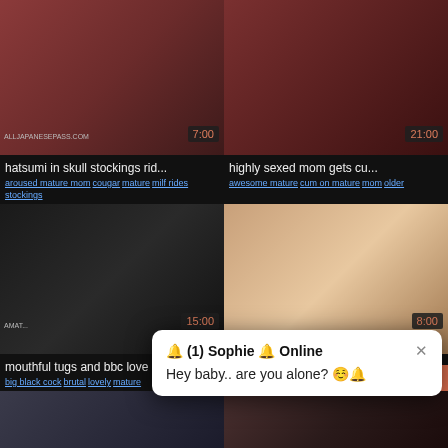[Figure (screenshot): Adult video thumbnail grid with popup notification]
hatsumi in skull stockings rid...
aroused mature mom  cougar  mature  milf rides  stockings
highly sexed mom gets cu...
awesome mature  cum on mature  mom  older
mouthful tugs and bbc love
big black cock  brutal  lovely  mature
stepdaughter mouth jizzed
jizzed mature  stepdad  stepdaughter
🔔 (1) Sophie 🔔 Online
Hey baby.. are you alone? ☺️🔔